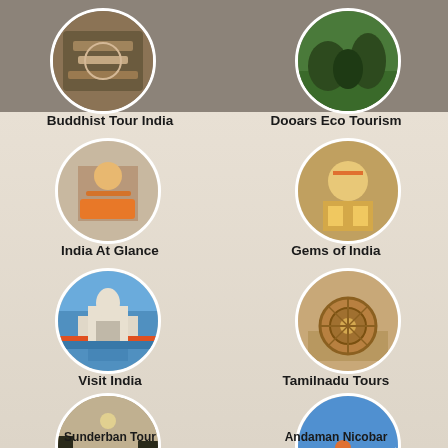[Figure (photo): Circular photo of Buddhist artifacts/textiles at top left]
[Figure (photo): Circular photo of elephants at top right]
Buddhist Tour India
Dooars Eco Tourism
[Figure (photo): Circular photo of a sadhu/holy man]
[Figure (photo): Circular photo of a woman in colorful Indian attire]
India At Glance
Gems of India
[Figure (photo): Circular photo of Taj Mahal]
[Figure (photo): Circular photo of Tamilnadu temple chariot]
Visit India
Tamilnadu Tours
[Figure (photo): Circular photo of a boat on the Sundarbans river]
[Figure (photo): Circular photo of jet skiing / water sports in Andaman]
Sunderban Tour
Andaman Nicobar